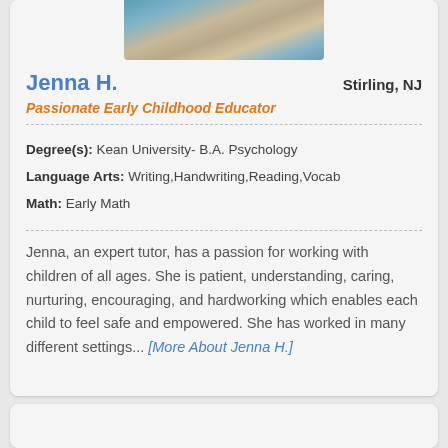[Figure (photo): Profile photo of Jenna H. showing blonde curly hair]
Jenna H.
Stirling, NJ
Passionate Early Childhood Educator
Degree(s): Kean University- B.A. Psychology
Language Arts: Writing,Handwriting,Reading,Vocab
Math: Early Math
Jenna, an expert tutor, has a passion for working with children of all ages. She is patient, understanding, caring, nurturing, encouraging, and hardworking which enables each child to feel safe and empowered. She has worked in many different settings... [More About Jenna H.]